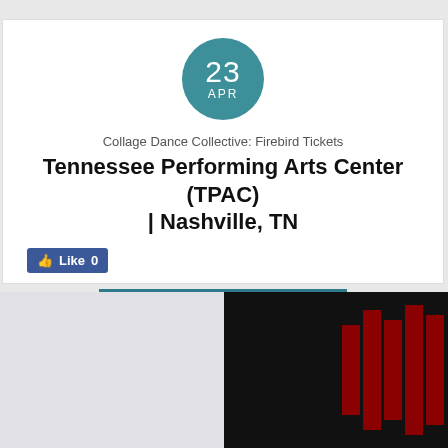[Figure (infographic): Teal circular date badge showing '23 APR']
Collage Dance Collective: Firebird Tickets
Tennessee Performing Arts Center (TPAC) | Nashville, TN
[Figure (other): Facebook Like button showing 'Like 0']
[Figure (other): Teal 'GET TICKETS' button]
[Figure (photo): Light gray image (left) and dark image with red vertical bars (right) at bottom of page]